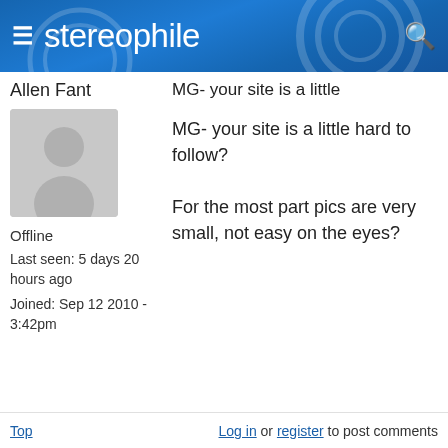stereophile
Allen Fant
[Figure (illustration): Default user avatar silhouette on gray background]
Offline
Last seen: 5 days 20 hours ago
Joined: Sep 12 2010 - 3:42pm
MG- your site is a little
MG- your site is a little hard to follow?
For the most part pics are very small, not easy on the eyes?
Top   Log in or register to post comments